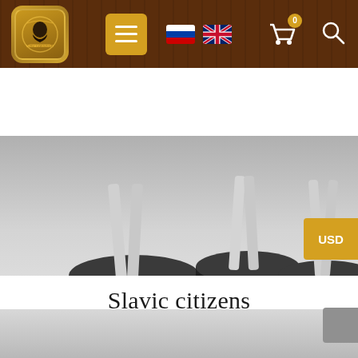[Figure (screenshot): Website navigation bar with logo (military figure portrait in golden rounded square), orange hamburger menu button, Russian and UK flag icons, shopping cart icon with 0 badge, and search icon on dark wood-textured brown background]
[Figure (photo): Three unpainted resin or metal military miniature figures on black round bases, photographed from below showing only their lower bodies/legs against a light gray background. An orange USD currency button is visible on the right side.]
Slavic citizens
[Figure (photo): Bottom gray gradient area of the webpage, partially visible with a gray scroll indicator square on the right edge]